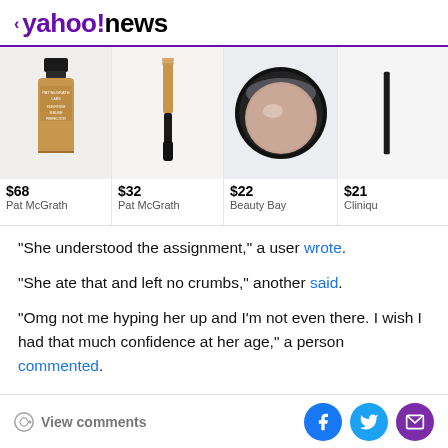< yahoo!news
[Figure (photo): Product strip showing makeup items: a foundation bottle ($68 Pat McGrath), a concealer wand ($32 Pat McGrath), a compact powder ($22 Beauty Bay), and a partial fourth item ($21 Cliniqu)]
“She understood the assignment,” a user wrote.
“She ate that and left no crumbs,” another said.
“Omg not me hyping her up and I’m not even there. I wish I had that much confidence at her age,” a person commented.
View comments | Facebook | Twitter | Email